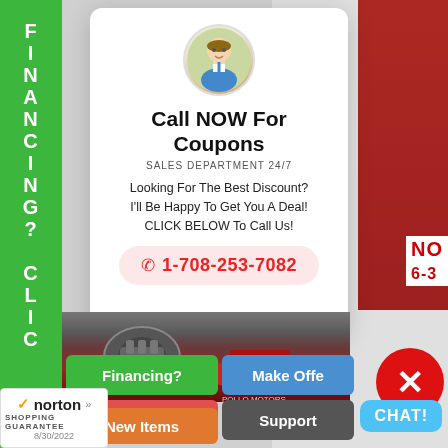FINANCING? CLICK
[Figure (photo): Circular avatar photo of a young man in a white shirt and blue tie, smiling]
Call NOW For Coupons
SALES DEPARTMENT 24/7
Looking For The Best Discount? I'll Be Happy To Get You A Deal! CLICK BELOW To Call Us!
1-708-253-7082
[Figure (photo): Motorcycle and ATV vehicles photo at bottom]
Financing?
Make Offer
Locations
Support
New Items
CHAT!
[Figure (logo): Norton Shopping Guarantee badge dated 8/30/2022]